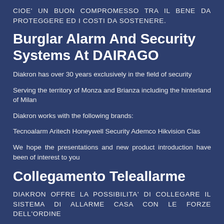CIOE' UN BUON COMPROMESSO TRA IL BENE DA PROTEGGERE ED I COSTI DA SOSTENERE.
Burglar Alarm And Security Systems At DAIRAGO
Diakron has over 30 years exclusively in the field of security
Serving the territory of Monza and Brianza including the hinterland of Milan
Diakron works with the following brands:
Tecnoalarm Aritech Honeywell Security Ademco Hikvision Cias
We hope the presentations and new product introduction have been of interest to you
Collegamento Teleallarme
DIAKRON OFFRE LA POSSIBILITA' DI COLLEGARE IL SISTEMA DI ALLARME CASA CON LE FORZE DELL'ORDINE